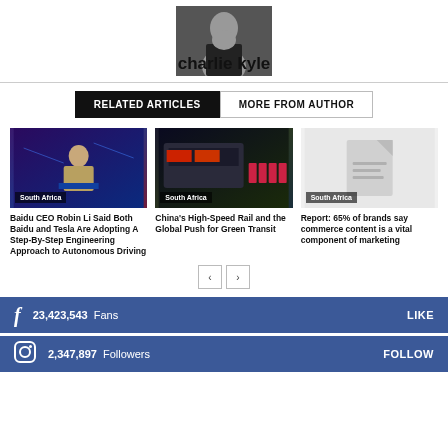[Figure (photo): Headshot photo of charlie kyle, man in dark shirt]
charlie kyle
[Figure (screenshot): Related Articles tab (active) and More From Author tab navigation]
[Figure (photo): Article 1 thumbnail: Baidu CEO Robin Li at a podium with 'South Africa' badge]
Baidu CEO Robin Li Said Both Baidu and Tesla Are Adopting A Step-By-Step Engineering Approach to Autonomous Driving
[Figure (photo): Article 2 thumbnail: China's High-Speed Rail train with people on platform, 'South Africa' badge]
China's High-Speed Rail and the Global Push for Green Transit
[Figure (photo): Article 3 thumbnail: placeholder document icon with 'South Africa' badge]
Report: 65% of brands say commerce content is a vital component of marketing
< >
23,423,543  Fans  LIKE
2,347,897  Followers  FOLLOW